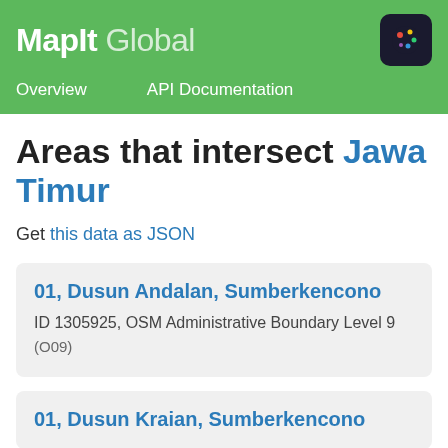MapIt Global — Overview | API Documentation
Areas that intersect Jawa Timur
Get this data as JSON
01, Dusun Andalan, Sumberkencono
ID 1305925, OSM Administrative Boundary Level 9 (O09)
01, Dusun Kraian, Sumberkencono